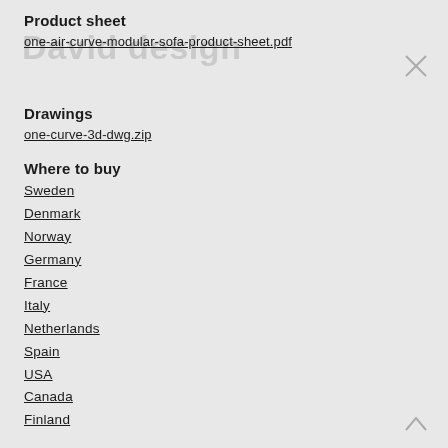Product sheet
one-air-curve-modular-sofa-product-sheet.pdf
David design
Drawings
one-curve-3d-dwg.zip
Where to buy
Sweden
Denmark
Norway
Germany
France
Italy
Netherlands
Spain
USA
Canada
Finland